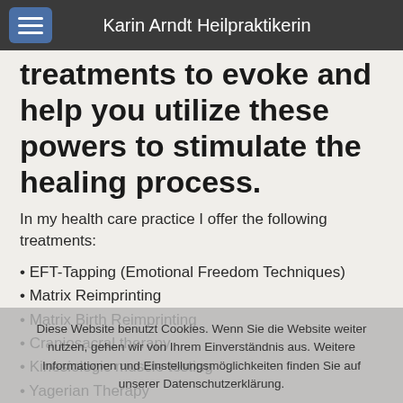Karin Arndt Heilpraktikerin
treatments to evoke and help you utilize these powers to stimulate the healing process.
In my health care practice I offer the following treatments:
EFT-Tapping (Emotional Freedom Techniques)
Matrix Reimprinting
Matrix Birth Reimprinting
Craniosacral therapy
Kinesiologic muscle testing
Yagerian Therapy
Phytotherapy
Diese Website benutzt Cookies. Wenn Sie die Website weiter nutzen, gehen wir von Ihrem Einverständnis aus. Weitere Informationen und Einstellungsmöglichkeiten finden Sie auf unserer Datenschutzerklärung.
Do not hesitate to contact me for further information on how we might work to get her on